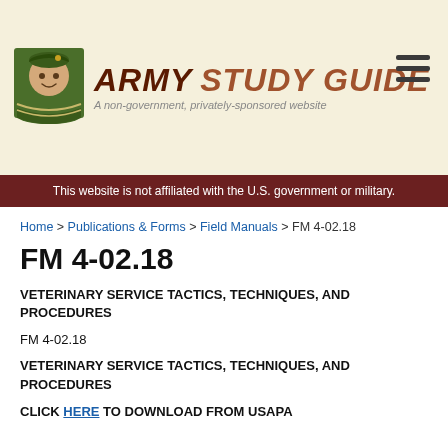[Figure (logo): Army Study Guide logo with soldier face and green book, beside 'ARMY STUDY GUIDE' text in dark red/brown italic font and tagline 'A non-government, privately-sponsored website']
This website is not affiliated with the U.S. government or military.
Home > Publications & Forms > Field Manuals > FM 4-02.18
FM 4-02.18
VETERINARY SERVICE TACTICS, TECHNIQUES, AND PROCEDURES
FM 4-02.18
VETERINARY SERVICE TACTICS, TECHNIQUES, AND PROCEDURES
CLICK HERE TO DOWNLOAD FROM USAPA